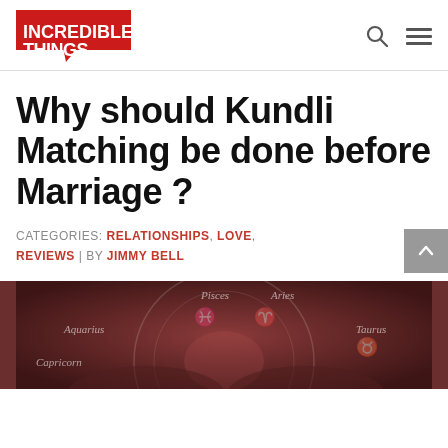INCREDIBLE THINGS
Why should Kundli Matching be done before Marriage ?
CATEGORIES: RELATIONSHIPS, LOVE, REVIEWS | BY JIMMY BELL
[Figure (photo): Zodiac wheel with astrological signs including Pisces, Aries, Taurus, Aquarius, Capricorn displayed on a dark reddish background with hands]